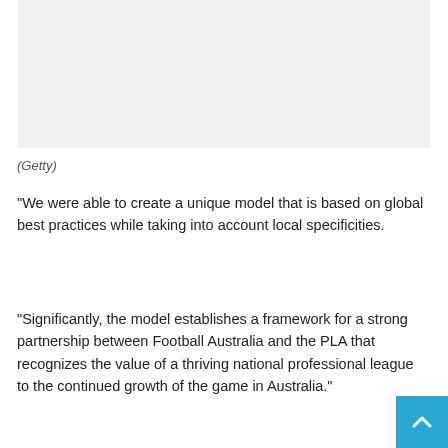[Figure (photo): Placeholder image area (light gray background, photo content not visible)]
(Getty)
“We were able to create a unique model that is based on global best practices while taking into account local specificities.
“Significantly, the model establishes a framework for a strong partnership between Football Australia and the PLA that recognizes the value of a thriving national professional league to the continued growth of the game in Australia.”